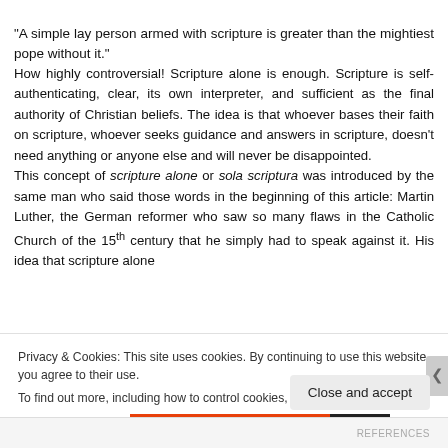“A simple lay person armed with scripture is greater than the mightiest pope without it.”
How highly controversial! Scripture alone is enough. Scripture is self-authenticating, clear, its own interpreter, and sufficient as the final authority of Christian beliefs. The idea is that whoever bases their faith on scripture, whoever seeks guidance and answers in scripture, doesn’t need anything or anyone else and will never be disappointed.
This concept of scripture alone or sola scriptura was introduced by the same man who said those words in the beginning of this article: Martin Luther, the German reformer who saw so many flaws in the Catholic Church of the 15th century that he simply had to speak against it. His idea that scripture alone
Privacy & Cookies: This site uses cookies. By continuing to use this website, you agree to their use.
To find out more, including how to control cookies, see here: Cookie Policy
Close and accept